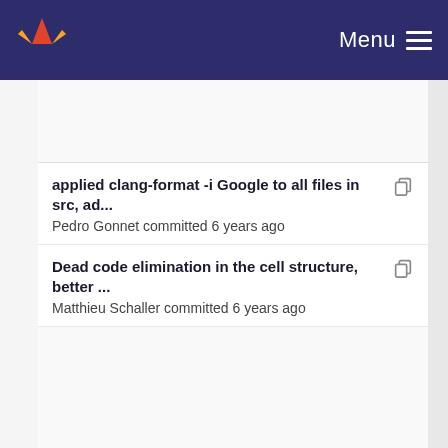Menu
applied clang-format -i Google to all files in src, ad...
Pedro Gonnet committed 6 years ago
Dead code elimination in the cell structure, better ...
Matthieu Schaller committed 6 years ago
applied clang-format -i Google to all files in src, ad...
Pedro Gonnet committed 6 years ago
added distributed-memory parallelism using MPI, ...
Pedro Gonnet committed 9 years ago
major refactoring of the code, split each distinct typ...
Pedro Gonnet committed 9 years ago